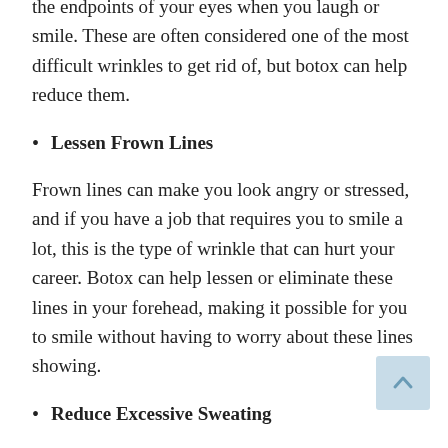the endpoints of your eyes when you laugh or smile. These are often considered one of the most difficult wrinkles to get rid of, but botox can help reduce them.
Lessen Frown Lines
Frown lines can make you look angry or stressed, and if you have a job that requires you to smile a lot, this is the type of wrinkle that can hurt your career. Botox can help lessen or eliminate these lines in your forehead, making it possible for you to smile without having to worry about these lines showing.
Reduce Excessive Sweating
Botox injections can help people who experience excessive sweating. They won't be embarrassed